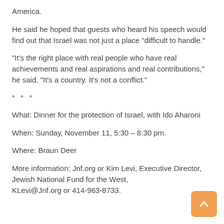America.
He said he hoped that guests who heard his speech would find out that Israel was not just a place "difficult to handle."
"It's the right place with real people who have real achievements and real aspirations and real contributions," he said. "It's a country. It's not a conflict."
* * *
What: Dinner for the protection of Israel, with Ido Aharoni
When: Sunday, November 11, 5:30 – 8:30 pm.
Where: Braun Deer
More information: Jnf.org or Kim Levi, Executive Director, Jewish National Fund for the West, KLevi@Jnf.org or 414-963-8733.